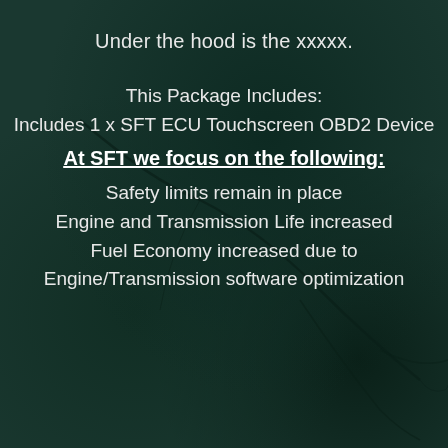[Figure (photo): Dark green textured background resembling cracked pavement or stone surface, with visible crack lines running diagonally across the image.]
Under the hood is the xxxxx.
This Package Includes:
Includes 1 x SFT ECU Touchscreen OBD2 Device
At SFT we focus on the following:
Safety limits remain in place
Engine and Transmission Life increased
Fuel Economy increased due to
Engine/Transmission software optimization